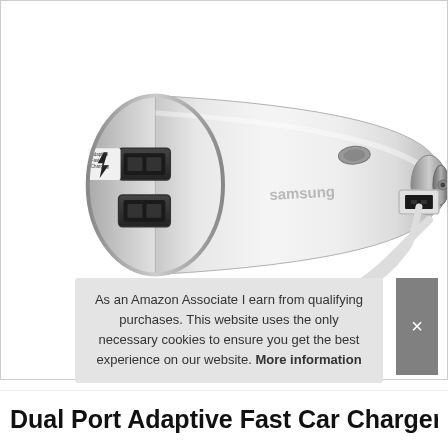[Figure (photo): White dual-port USB car charger with Samsung branding and Adaptive Fast Charging label on the top port, showing two USB-A ports on the front face. Beside the charger, a white USB-A to USB-C cable is shown with both connectors visible.]
As an Amazon Associate I earn from qualifying purchases. This website uses the only necessary cookies to ensure you get the best experience on our website. More information
Dual Port Adaptive Fast Car Charger &